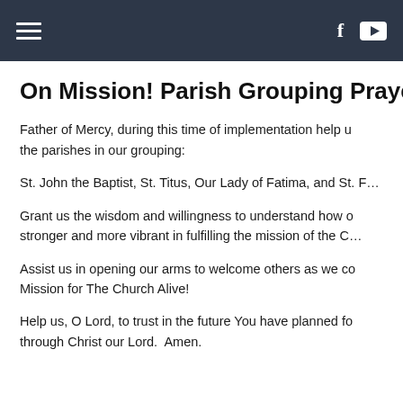Navigation bar with hamburger menu, Facebook and YouTube icons
On Mission! Parish Grouping Prayer
Father of Mercy, during this time of implementation help us to unite the parishes in our grouping:
St. John the Baptist, St. Titus, Our Lady of Fatima, and St. F…
Grant us the wisdom and willingness to understand how our grouping can become stronger and more vibrant in fulfilling the mission of the C…
Assist us in opening our arms to welcome others as we co… Mission for The Church Alive!
Help us, O Lord, to trust in the future You have planned fo… through Christ our Lord.  Amen.